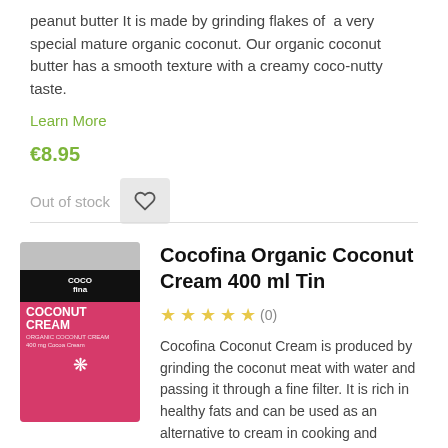peanut butter It is made by grinding flakes of  a very special mature organic coconut. Our organic coconut butter has a smooth texture with a creamy coco-nutty taste.
Learn More
€8.95
Out of stock
[Figure (photo): Pink Cocofina Organic Coconut Cream 400ml tin with black label on top showing the Cocofina logo]
Cocofina Organic Coconut Cream 400 ml Tin
(0)
Cocofina Coconut Cream is produced by grinding the coconut meat with water and passing it through a fine filter. It is rich in healthy fats and can be used as an alternative to cream in cooking and baking, as well as in whipped cream, milkshakes